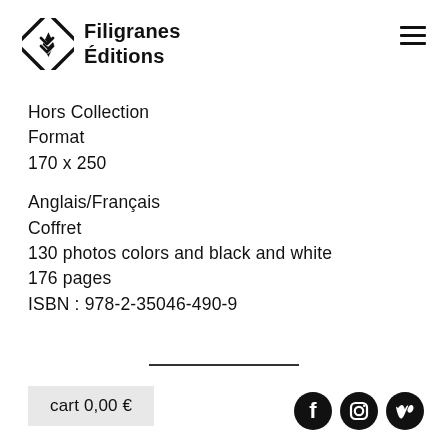[Figure (logo): Filigranes Éditions logo: diamond-shaped geometric icon with stylized F mark, followed by bold text 'Filigranes Éditions']
Hors Collection
Format
170 x 250
Anglais/Français
Coffret
130 photos colors and black and white
176 pages
ISBN : 978-2-35046-490-9
cart 0,00 €
[Figure (other): Social media icons: Facebook, Instagram, Vimeo — black circular buttons]